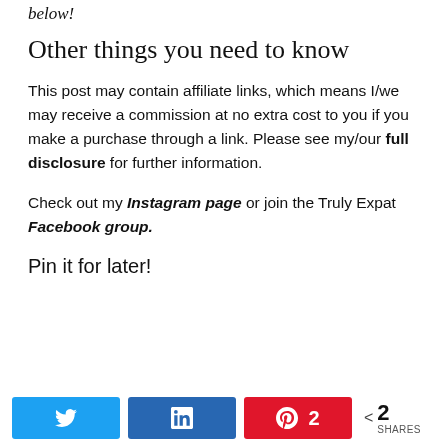below!
Other things you need to know
This post may contain affiliate links, which means I/we may receive a commission at no extra cost to you if you make a purchase through a link. Please see my/our full disclosure for further information.
Check out my Instagram page or join the Truly Expat Facebook group.
Pin it for later!
Twitter share button, LinkedIn share button, Pinterest 2 shares, < 2 SHARES